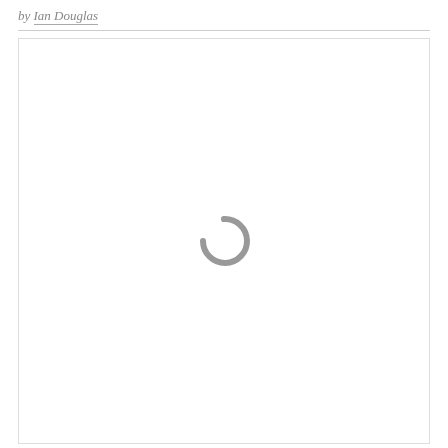by Ian Douglas
[Figure (other): Loading spinner — a grey arc/ring shape indicating content is loading, displayed in the center of a white content area enclosed by a light border.]